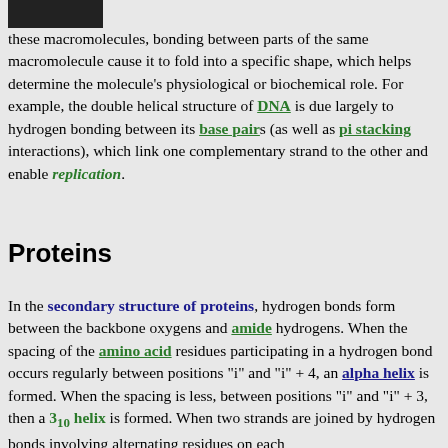[Figure (photo): Small dark rectangular photo/image at top left of page]
these macromolecules, bonding between parts of the same macromolecule cause it to fold into a specific shape, which helps determine the molecule's physiological or biochemical role. For example, the double helical structure of DNA is due largely to hydrogen bonding between its base pairs (as well as pi stacking interactions), which link one complementary strand to the other and enable replication.
Proteins
In the secondary structure of proteins, hydrogen bonds form between the backbone oxygens and amide hydrogens. When the spacing of the amino acid residues participating in a hydrogen bond occurs regularly between positions "i" and "i" + 4, an alpha helix is formed. When the spacing is less, between positions "i" and "i" + 3, then a 3₁₀ helix is formed. When two strands are joined by hydrogen bonds involving alternating residues on each